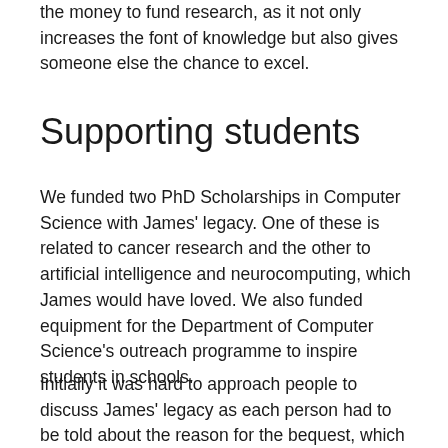the money to fund research, as it not only increases the font of knowledge but also gives someone else the chance to excel.
Supporting students
We funded two PhD Scholarships in Computer Science with James' legacy. One of these is related to cancer research and the other to artificial intelligence and neurocomputing, which James would have loved. We also funded equipment for the Department of Computer Science's outreach programme to inspire students in schools.
Initially it was hard to approach people to discuss James' legacy as each person had to be told about the reason for the bequest, which was difficult. But once the initial contact had been made the overwhelming feeling was pride. Pride that my amazing son had done this and that he wanted to help people in some